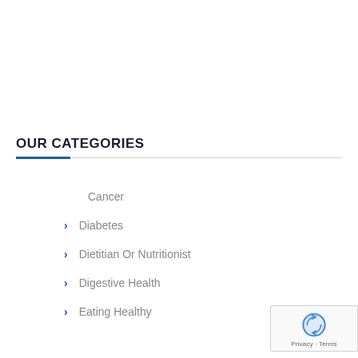OUR CATEGORIES
Cancer
Diabetes
Dietitian Or Nutritionist
Digestive Health
Eating Healthy